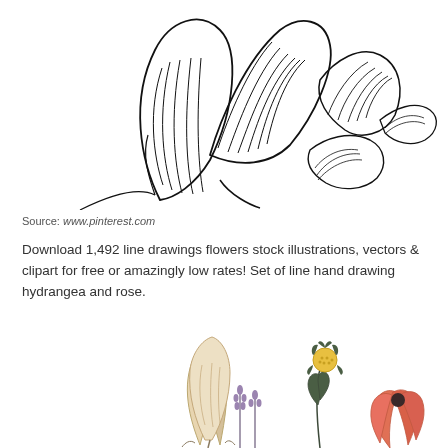[Figure (illustration): Black and white line drawing of flowers — large petals and detailed stamen, resembling a magnolia or similar bloom with layered petals, rendered in sketch/line art style.]
Source: www.pinterest.com
Download 1,492 line drawings flowers stock illustrations, vectors & clipart for free or amazingly low rates! Set of line hand drawing hydrangea and rose.
[Figure (illustration): Colorful illustration of small wildflowers and botanical elements: a cream/beige tulip-like flower with leaves, small purple lavender sprigs, a yellow button flower on a dark stem with dark leaves, and coral/orange poppy-like flowers, shown partially cropped at the bottom of the page.]